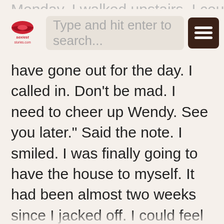Type and hit enter to search...
have gone out for the day. I called in. Don’t be mad. I need to cheer up Wendy. See you later.” Said the note. I smiled. I was finally going to have the house to myself. It had been almost two weeks since I jacked off. I could feel my balls about to explode.
I got my laptop from under my bed. I walked up stairs to the master bath. My Mom had a big Jacuzzi tub. I loved the